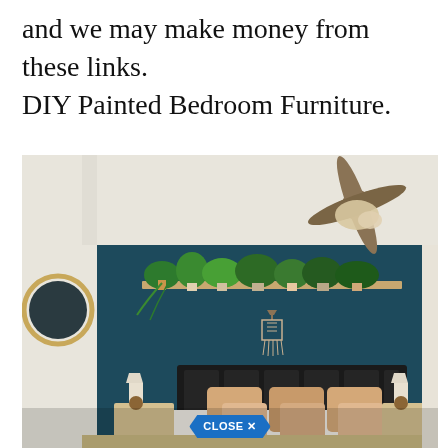and we may make money from these links. DIY Painted Bedroom Furniture.
[Figure (photo): Bedroom with a dark teal accent wall, a floating shelf with multiple potted plants, a ceiling fan with light fixture, a round mirror on the left wall, a bed with warm-toned pillows and white bedding, two small nightstands with lamps, a macrame wall hanging, and a 'CLOSE X' button overlay at the bottom center.]